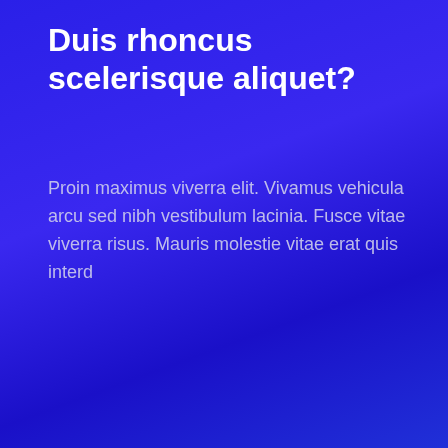Duis rhoncus scelerisque aliquet?
Proin maximus viverra elit. Vivamus vehicula arcu sed nibh vestibulum lacinia. Fusce vitae viverra risus. Mauris molestie vitae erat quis interd
ASK A QUESTION